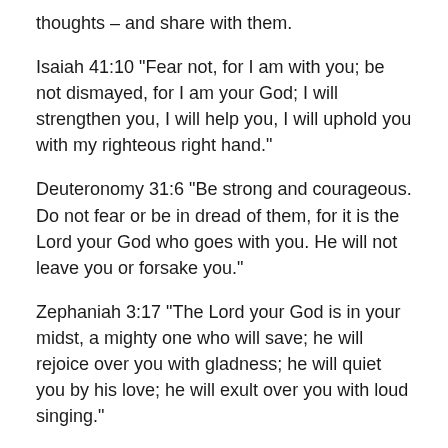thoughts – and share with them.
Isaiah 41:10 “Fear not, for I am with you; be not dismayed, for I am your God; I will strengthen you, I will help you, I will uphold you with my righteous right hand.”
Deuteronomy 31:6 “Be strong and courageous. Do not fear or be in dread of them, for it is the Lord your God who goes with you. He will not leave you or forsake you.”
Zephaniah 3:17 “The Lord your God is in your midst, a mighty one who will save; he will rejoice over you with gladness; he will quiet you by his love; he will exult over you with loud singing.”
Matthew 28:20 “Teaching them to observe all that I have commanded you. And behold, I am with you always, to the end of the age.”